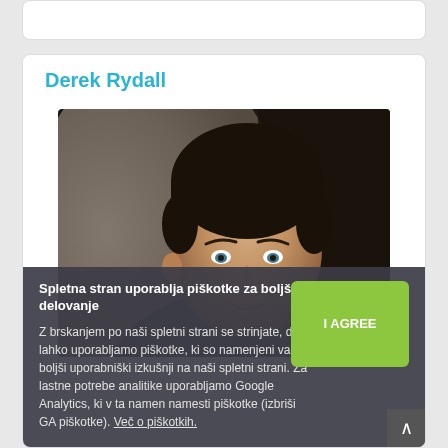Derek Rydall
[Figure (photo): Headshot of Derek Rydall, a middle-aged man with dark hair, wearing a dark grey v-neck shirt, smiling slightly against a dark background]
Spletna stran uporablja piškotke za boljše delovanje
Z brskanjem po naši spletni strani se strinjate, da lahko uporabljamo piškotke, ki so namenjeni vaši boljši uporabniški izkušnji na naši spletni strani. Za lastne potrebe analitike uporabljamo Google Analytics, ki v ta namen namesti piškotke (izbriši GA piškotke). Več o piškotkih.